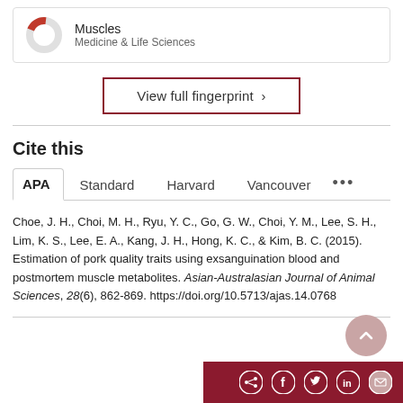[Figure (donut-chart): Partial donut chart icon for Muscles, Medicine & Life Sciences category]
Muscles
Medicine & Life Sciences
View full fingerprint >
Cite this
APA  Standard  Harvard  Vancouver  ...
Choe, J. H., Choi, M. H., Ryu, Y. C., Go, G. W., Choi, Y. M., Lee, S. H., Lim, K. S., Lee, E. A., Kang, J. H., Hong, K. C., & Kim, B. C. (2015). Estimation of pork quality traits using exsanguination blood and postmortem muscle metabolites. Asian-Australasian Journal of Animal Sciences, 28(6), 862-869. https://doi.org/10.5713/ajas.14.0768